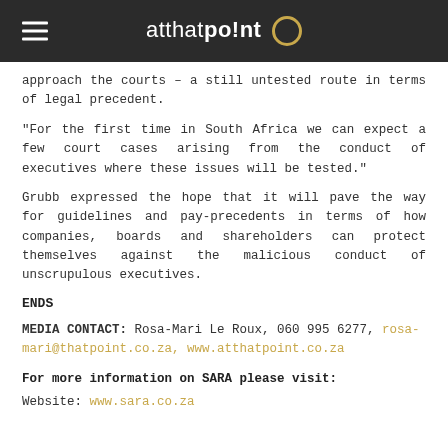atthatpoint
approach the courts – a still untested route in terms of legal precedent.
"For the first time in South Africa we can expect a few court cases arising from the conduct of executives where these issues will be tested."
Grubb expressed the hope that it will pave the way for guidelines and pay-precedents in terms of how companies, boards and shareholders can protect themselves against the malicious conduct of unscrupulous executives.
ENDS
MEDIA CONTACT: Rosa-Mari Le Roux, 060 995 6277, rosa-mari@thatpoint.co.za, www.atthatpoint.co.za
For more information on SARA please visit:
Website: www.sara.co.za